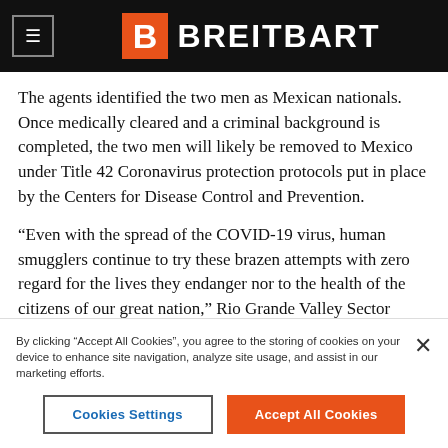BREITBART
The agents identified the two men as Mexican nationals. Once medically cleared and a criminal background is completed, the two men will likely be removed to Mexico under Title 42 Coronavirus protection protocols put in place by the Centers for Disease Control and Prevention.
“Even with the spread of the COVID-19 virus, human smugglers continue to try these brazen attempts with zero regard for the lives they endanger nor to the health of the citizens of our great nation,” Rio Grande Valley Sector officials said in a written statement. “The U.S. Border Patrol agents of the Rio Grande Valley Sector will continue to safeguard the nation and community against these criminal elements.”
By clicking “Accept All Cookies”, you agree to the storing of cookies on your device to enhance site navigation, analyze site usage, and assist in our marketing efforts.